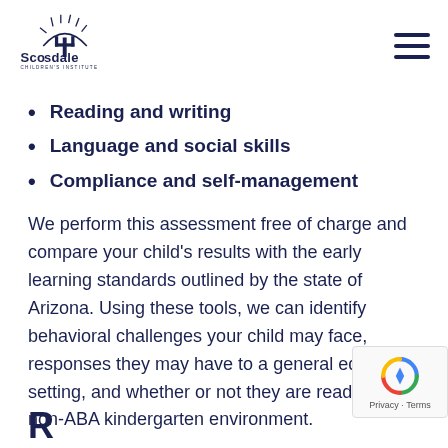Scottsdale Children's Institute
Reading and writing
Language and social skills
Compliance and self-management
We perform this assessment free of charge and compare your child's results with the early learning standards outlined by the state of Arizona. Using these tools, we can identify behavioral challenges your child may face, responses they may have to a general education setting, and whether or not they are ready for a non-ABA kindergarten environment.
R...